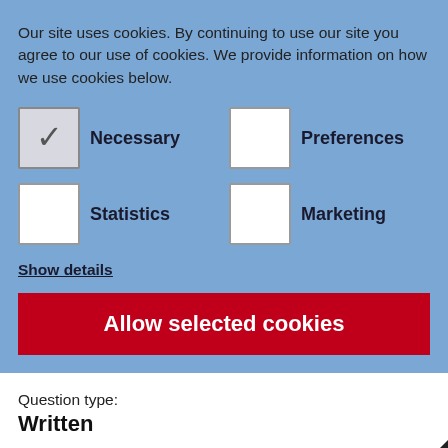Our site uses cookies. By continuing to use our site you agree to our use of cookies. We provide information on how we use cookies below.
Necessary (checked), Preferences (unchecked), Statistics (unchecked), Marketing (unchecked)
Show details
Allow selected cookies
Question type:
Written
Asked by:
Robert Ward